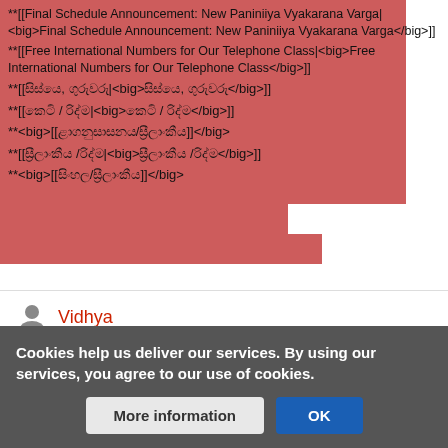**[[Final Schedule Announcement: New Paniniiya Vyakarana Varga|<big>Final Schedule Announcement: New Paniniiya Vyakarana Varga</big>]]
**[[Free International Numbers for Our Telephone Class|<big>Free International Numbers for Our Telephone Class</big>]]
**[[ශිෂ්‍ය, ගුරුවරු|<big>ශිෂ්‍ය, ගුරුවරු</big>]]
**[[කෙටි / රිද්ම|<big>කෙටි / රිද්ම</big>]]
**<big>[[වාගනුශාසනය/ශ්‍රීලාංකීය]]</big>
**[[ශ්‍රීලාංකීය /රිද්ම|<big>ශ්‍රීලාංකීය /රිද්ම</big>]]
**<big>[[සිංහල/ශ්‍රීලාංකීය]]</big>
Vidhya
PAGE AND LINK MANAGERS.
EDITS
Cookies help us deliver our services. By using our services, you agree to our use of cookies.
More information
OK